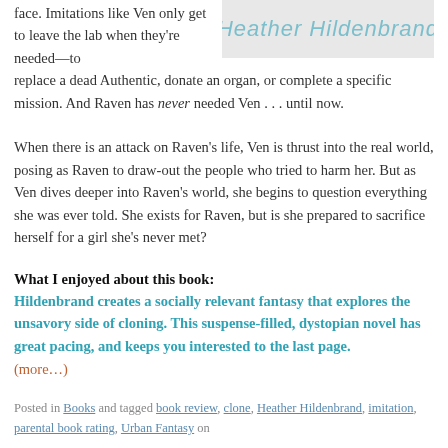face. Imitations like Ven only get to leave the lab when they're needed—to replace a dead Authentic, donate an organ, or complete a specific mission. And Raven has never needed Ven . . . until now.
[Figure (illustration): Heather Hildenbrand author name in teal italic script on light grey background]
When there is an attack on Raven's life, Ven is thrust into the real world, posing as Raven to draw-out the people who tried to harm her. But as Ven dives deeper into Raven's world, she begins to question everything she was ever told. She exists for Raven, but is she prepared to sacrifice herself for a girl she's never met?
What I enjoyed about this book:
Hildenbrand creates a socially relevant fantasy that explores the unsavory side of cloning. This suspense-filled, dystopian novel has great pacing, and keeps you interested to the last page.
(more…)
Posted in Books and tagged book review, clone, Heather Hildenbrand, imitation, parental book rating, Urban Fantasy on